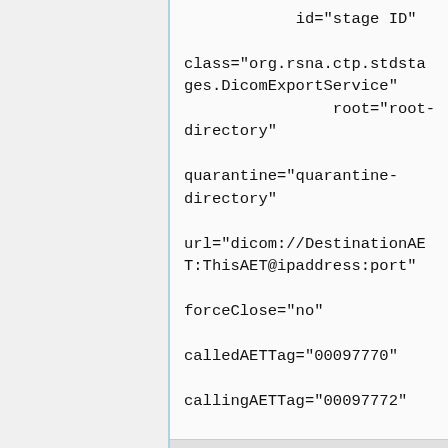id="stage ID"

class="org.rsna.ctp.stdstages.DicomExportService"
                root="root-directory"

quarantine="quarantine-directory"

url="dicom://DestinationAET:ThisAET@ipaddress:port"

forceClose="no"

calledAETTag="00097770"

callingAETTag="00097772"

dicomScript="scripts/df.script"

interval="5000" />